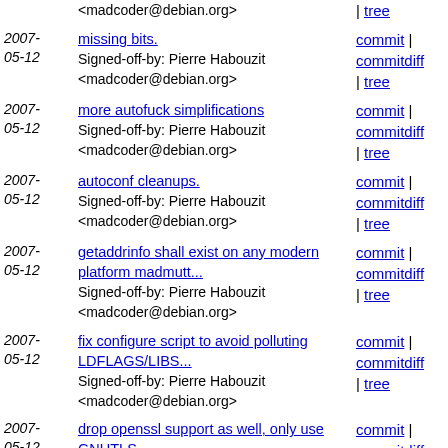2007-05-12 Pierre Habouzit | missing bits. Signed-off-by: Pierre Habouzit <madcoder@debian.org> | commit | commitdiff | tree
2007-05-12 Pierre Habouzit | more autofuck simplifications Signed-off-by: Pierre Habouzit <madcoder@debian.org> | commit | commitdiff | tree
2007-05-12 Pierre Habouzit | autoconf cleanups. Signed-off-by: Pierre Habouzit <madcoder@debian.org> | commit | commitdiff | tree
2007-05-12 Pierre Habouzit | getaddrinfo shall exist on any modern platform madmutt... Signed-off-by: Pierre Habouzit <madcoder@debian.org> | commit | commitdiff | tree
2007-05-12 Pierre Habouzit | fix configure script to avoid polluting LDFLAGS/LIBS... Signed-off-by: Pierre Habouzit <madcoder@debian.org> | commit | commitdiff | tree
2007-05-12 Pierre Habouzit | drop openssl support as well, only use GNUTLS. Signed-off-by: Pierre Habouzit <madcoder@debian.org> | commit | commitdiff | tree
2007-05-12 Pierre Habouzit | simplifications. Signed-off-by: Pierre Habouzit | commit | commitdiff